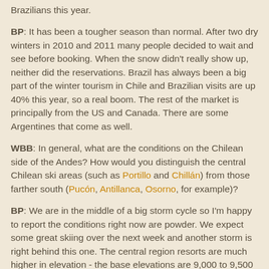Brazilians this year.
BP: It has been a tougher season than normal. After two dry winters in 2010 and 2011 many people decided to wait and see before booking. When the snow didn't really show up, neither did the reservations. Brazil has always been a big part of the winter tourism in Chile and Brazilian visits are up 40% this year, so a real boom. The rest of the market is principally from the US and Canada. There are some Argentines that come as well.
WBB: In general, what are the conditions on the Chilean side of the Andes? How would you distinguish the central Chilean ski areas (such as Portillo and Chillán) from those farther south (Pucón, Antillanca, Osorno, for example)?
BP: We are in the middle of a big storm cycle so I'm happy to report the conditions right now are powder. We expect some great skiing over the next week and another storm is right behind this one. The central region resorts are much higher in elevation - the base elevations are 9,000 to 9,500 feet and skiing up to 11.500. This is much higher than the resorts in